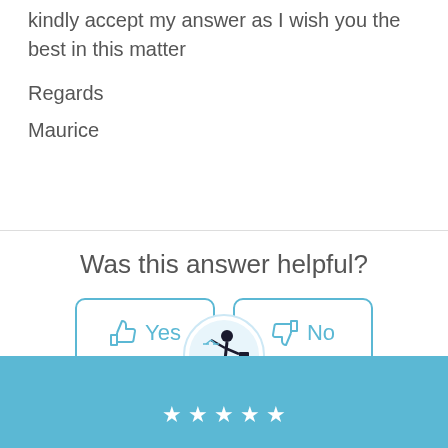kindly accept my answer as I wish you the best in this matter
Regards
Maurice
Was this answer helpful?
[Figure (illustration): Yes button with thumbs up icon and No button with thumbs down icon for rating an answer]
[Figure (logo): Circular logo with a lawyer/businessman figure holding scales of justice, running on a skateboard]
★★★★★